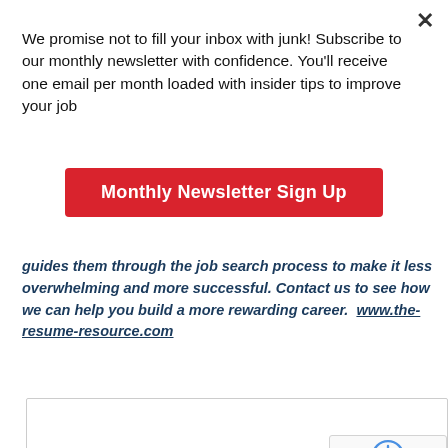×
We promise not to fill your inbox with junk! Subscribe to our monthly newsletter with confidence. You'll receive one email per month loaded with insider tips to improve your job
Monthly Newsletter Sign Up
guides them through the job search process to make it less overwhelming and more successful. Contact us to see how we can help you build a more rewarding career.  www.the-resume-resource.com
[Figure (other): reCAPTCHA badge with logo and Privacy - Terms text]